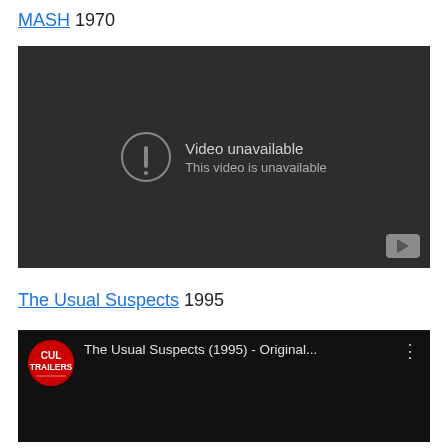MASH 1970
[Figure (screenshot): Embedded YouTube video player showing 'Video unavailable / This video is unavailable' error message on dark background with YouTube play button icon in lower right corner.]
The Usual Suspects 1995
[Figure (screenshot): Embedded YouTube video player showing a thumbnail for 'The Usual Suspects (1995) - Original...' with Cult Trailers channel logo (red circle with white text) on the left and a three-dot menu icon on the right.]